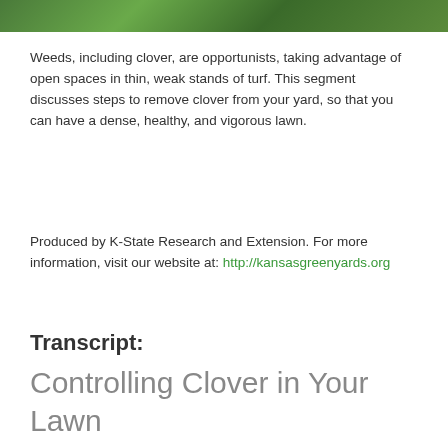[Figure (photo): Photograph of lawn or clover in a yard, green foliage visible at top of page]
Weeds, including clover, are opportunists, taking advantage of open spaces in thin, weak stands of turf. This segment discusses steps to remove clover from your yard, so that you can have a dense, healthy, and vigorous lawn.
Produced by K-State Research and Extension. For more information, visit our website at: http://kansasgreenyards.org
Transcript:
Controlling Clover in Your Lawn